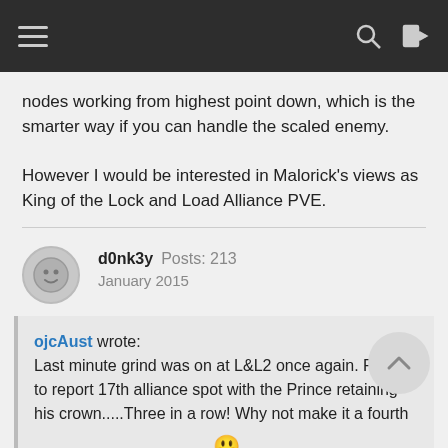Navigation bar with hamburger menu, search and login icons
nodes working from highest point down, which is the smarter way if you can handle the scaled enemy.

However I would be interested in Malorick's views as King of the Lock and Load Alliance PVE.
d0nk3y  Posts: 213
January 2015
ojcAust wrote:
Last minute grind was on at L&L2 once again. Proud to report 17th alliance spot with the Prince retaining his crown.....Three in a row! Why not make it a fourth 😃